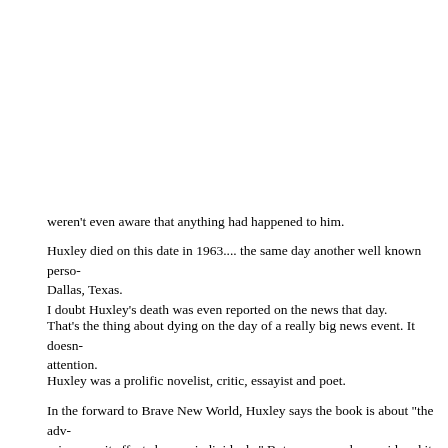And I even recall exactly what I was lis- car radio.
I remember driving back over to the sm- where I worked, and I can tell you exac- the rest of the day.
If you're around 50 or older, you absolu- the day Aldous Huxley died. But, like m- weren't even aware that anything had happened to him.
Huxley died on this date in 1963.... the same day another well known perso- Dallas, Texas.
I doubt Huxley's death was even reported on the news that day.
That's the thing about dying on the day of a really big news event. It doesn- attention.
Huxley was a prolific novelist, critic, essayist and poet.
In the forward to Brave New World, Huxley says the book is about "the adv- science as it affects human individuals." But many people considered it a w-
The story was set far into the future, in a world where people were produce- where there were unimaginable advances in science and technology.... wh- day concepts of freedom and morality would be severely challenged.
It revealed a civilization that had conquered war, disease, pain, suffering, e- envy...... and yet, in the process, had lost the human spirit.
But remember, it's about the world five or six centuries in the future...... righ- our own realities to debate and worry over.
This, like the many examples of how a rel-